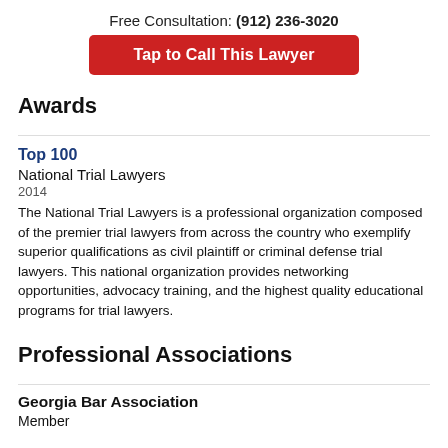Free Consultation: (912) 236-3020
Tap to Call This Lawyer
Awards
Top 100
National Trial Lawyers
2014
The National Trial Lawyers is a professional organization composed of the premier trial lawyers from across the country who exemplify superior qualifications as civil plaintiff or criminal defense trial lawyers. This national organization provides networking opportunities, advocacy training, and the highest quality educational programs for trial lawyers.
Professional Associations
Georgia Bar Association
Member